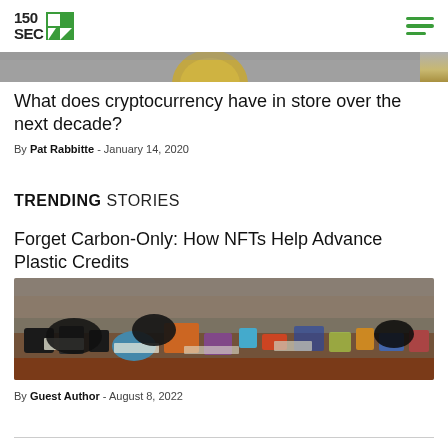150 SEC
[Figure (photo): Partial view of a gold bitcoin coin on a grey surface, top strip]
What does cryptocurrency have in store over the next decade?
By Pat Rabbitte - January 14, 2020
TRENDING STORIES
Forget Carbon-Only: How NFTs Help Advance Plastic Credits
[Figure (photo): Pile of mixed plastic and waste garbage on red dirt ground]
By Guest Author - August 8, 2022